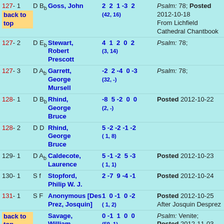127-1 D Bb Goss, John  2 2 1 -3 2 (42,16)  Psalm: 78; Posted 2012-10-18 From Lichfield Cathedral Chantbook | back to top
127-2 D Eb Stewart, Robert Prescott  4 1 2 0 2 (3,14)  Psalm: 78;
127-3 D Ab Garrett, George Mursell  -2 2 -4 0 -3 (32,-)  Psalm: 78;
128-1 D Bb Rhind, George Bruce  -8 5 -2 0 0 (2,-)  Posted 2012-10-22
128-2 D D Rhind, George Bruce  5 -2 -2 -1 -2 (1,8)
129-1 D Ab Caldecote, Laurence  5 -1 -2 5 -3 (1,1)  Posted 2012-10-23
130-1 S f Stopford, Philip W. J.  2 -7 9 -4 -1  Posted 2012-10-24
131-1 S F Anonymous [Des Prez, Josquin]  1 0 -1 0 -2 (1,2)  Posted 2012-10-25 After Josquin Desprez
back to top  Savage, William  0 -1 1 0 0 (59,1)  Psalm: Venite; Posted 2012-11-03
132- S G Hindle, John  3 -5 3 -1 -2  Psalm: 1;